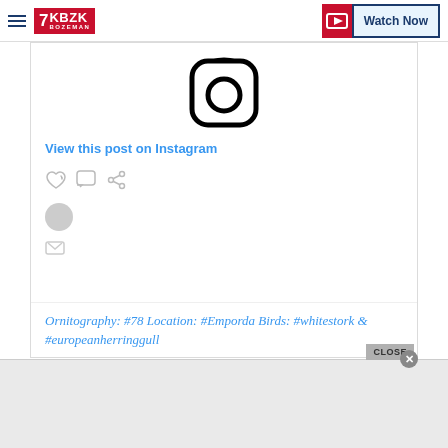KBZK Bozeman | Watch Now
[Figure (screenshot): Instagram embed post showing the Instagram camera logo icon, a 'View this post on Instagram' link, social action icons, and an italic caption reading 'Ornitography: #78 Location: #Emporda Birds: #whitestork & #europeanherringgull']
View this post on Instagram
Ornitography: #78 Location: #Emporda Birds: #whitestork & #europeanherringgull